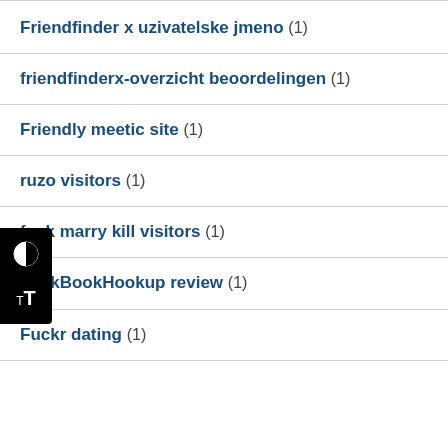Friendfinder x uzivatelske jmeno (1)
friendfinderx-overzicht beoordelingen (1)
Friendly meetic site (1)
ruzo visitors (1)
fuck marry kill visitors (1)
FuckBookHookup review (1)
Fuckr dating (1)
…